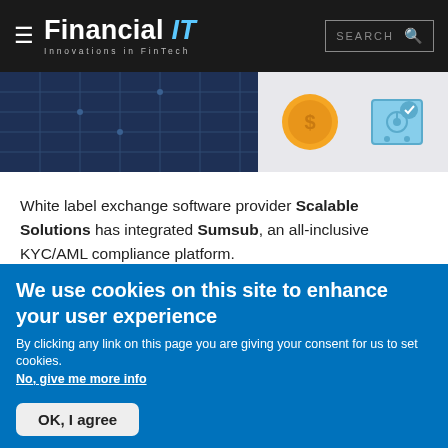Financial IT — Innovations in FinTech
[Figure (illustration): Banner image showing dark blue grid/chart background on left and gold coin with vault/safe icons on right]
White label exchange software provider Scalable Solutions has integrated Sumsub, an all-inclusive KYC/AML compliance platform.
As regulation around digital asset management and services is becoming clearer and more demanding, compliance is top of mind for exchanges, institutions and other financial services providers. Having access to a one-stop-shop for all compliance needs can significantly lower the costs usually associated with KYC/AML
We use cookies on this site to enhance your user experience
By clicking any link on this page you are giving your consent for us to set cookies. No, give me more info
OK, I agree